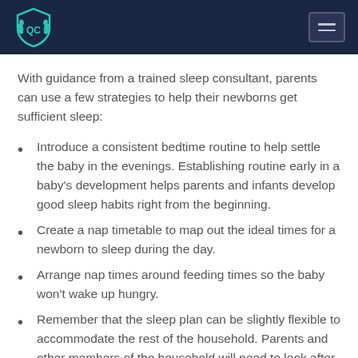QC [logo with hamburger menu]
With guidance from a trained sleep consultant, parents can use a few strategies to help their newborns get sufficient sleep:
Introduce a consistent bedtime routine to help settle the baby in the evenings. Establishing routine early in a baby's development helps parents and infants develop good sleep habits right from the beginning.
Create a nap timetable to map out the ideal times for a newborn to sleep during the day.
Arrange nap times around feeding times so the baby won't wake up hungry.
Remember that the sleep plan can be slightly flexible to accommodate the rest of the household. Parents and other members of the household will need to look after themselves as well as the baby!